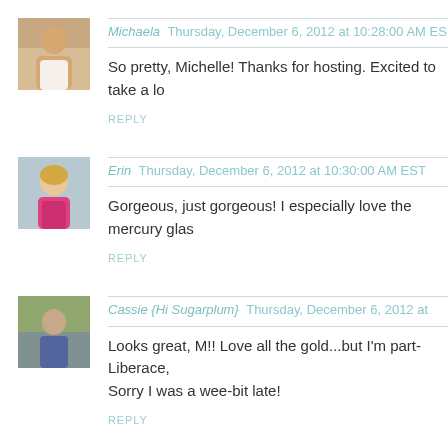[Figure (photo): Avatar photo of Michaela, woman outdoors]
Michaela Thursday, December 6, 2012 at 10:28:00 AM EST
So pretty, Michelle! Thanks for hosting. Excited to take a lo
REPLY
[Figure (photo): Avatar photo of Erin, woman with blonde hair]
Erin Thursday, December 6, 2012 at 10:30:00 AM EST
Gorgeous, just gorgeous! I especially love the mercury glas
REPLY
[Figure (photo): Avatar photo of Cassie, person in outdoor setting]
Cassie {Hi Sugarplum} Thursday, December 6, 2012 at
Looks great, M!! Love all the gold...but I'm part-Liberace, Sorry I was a wee-bit late!
REPLY